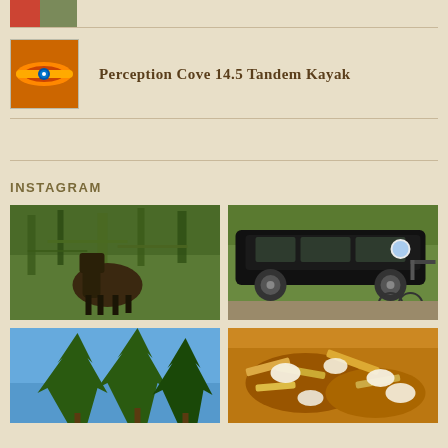[Figure (photo): Small thumbnail image at top, partially visible]
Perception Cove 14.5 Tandem Kayak
[Figure (photo): Thumbnail of a kayak, red and yellow colors]
INSTAGRAM
[Figure (photo): Moose partially hidden in green bushes and trees]
[Figure (photo): Black SUV with mountain bikes on a hitch rack, circular logo sticker on rear window]
[Figure (photo): Tall pine trees against blue sky, partial view]
[Figure (photo): Close-up of poutine or similar food dish with gravy and cheese curds]